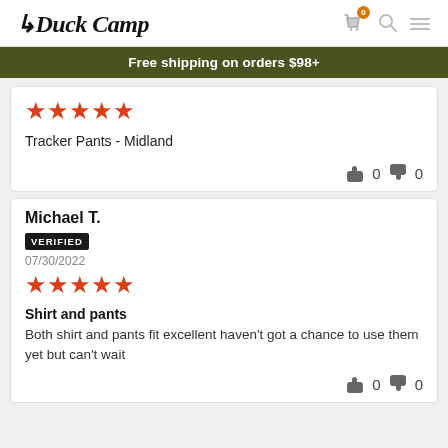Duck Camp — navigation with cart (0), search, menu icons
Free shipping on orders $98+
[Figure (other): 5 red stars rating]
Tracker Pants - Midland
thumbs up 0, thumbs down 0
Michael T.
VERIFIED
07/30/2022
[Figure (other): 5 red stars rating]
Shirt and pants
Both shirt and pants fit excellent haven't got a chance to use them yet but can't wait
thumbs up 0, thumbs down 0